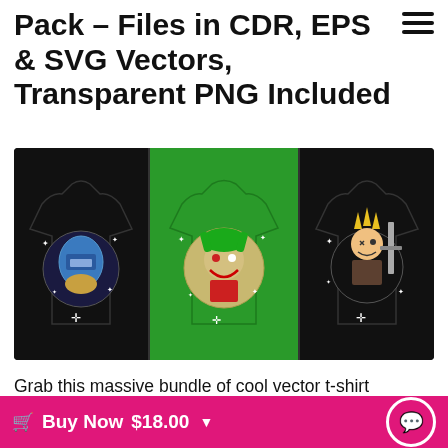Pack – Files in CDR, EPS & SVG Vectors, Transparent PNG Included
[Figure (photo): Three t-shirts with cartoon character designs: left black shirt with Mandalorian character, center green shirt with Joker character, right black shirt with blonde video game character holding sword]
Grab this massive bundle of cool vector t-shirt designs featuring 550+ unique illustrations inspired by characters from popular tv shows, movies, comics, cartoons, video games & more
Buy Now $18.00